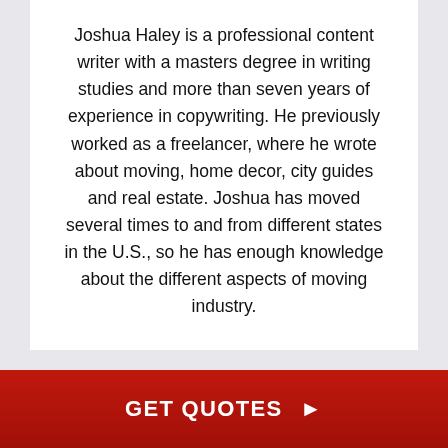Joshua Haley is a professional content writer with a masters degree in writing studies and more than seven years of experience in copywriting. He previously worked as a freelancer, where he wrote about moving, home decor, city guides and real estate. Joshua has moved several times to and from different states in the U.S., so he has enough knowledge about the different aspects of moving industry.
RELATED POSTS
GET QUOTES ▶